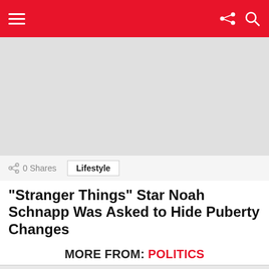navigation bar with hamburger menu, share icon, and search icon
[Figure (other): Gray advertisement placeholder rectangle]
0 Shares   Lifestyle
“Stranger Things” Star Noah Schnapp Was Asked to Hide Puberty Changes
MORE FROM: POLITICS
[Figure (photo): Drought-Hit China Plans To Use Cloud-Seeding To Induce Rain: Report - broken image thumbnail]